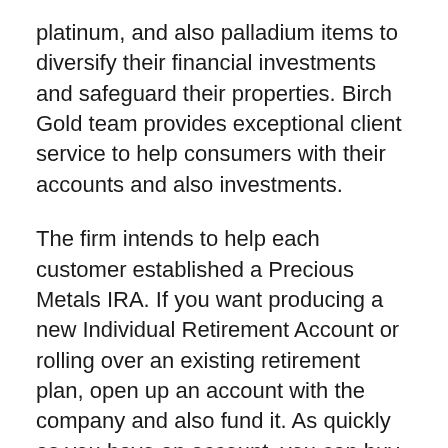platinum, and also palladium items to diversify their financial investments and safeguard their properties. Birch Gold team provides exceptional client service to help consumers with their accounts and also investments.
The firm intends to help each customer established a Precious Metals IRA. If you want producing a new Individual Retirement Account or rolling over an existing retirement plan, open up an account with the company and also fund it. As quickly as you have an account, you can buy precious metals to contribute to your financial investment.
Birch Gold Team